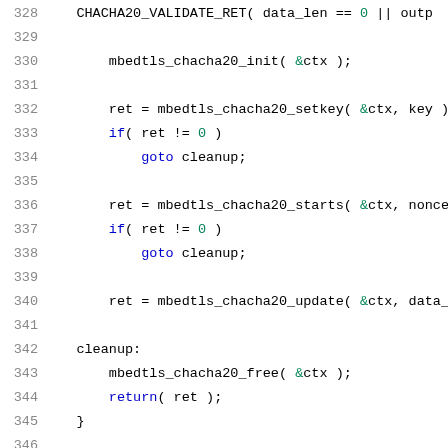[Figure (screenshot): Source code listing in C showing lines 328-349 of a ChaCha20 cryptography implementation, with syntax highlighting. Line numbers in gray on the left, keywords in blue, string/numeric literals in green, preprocessor directives in red.]